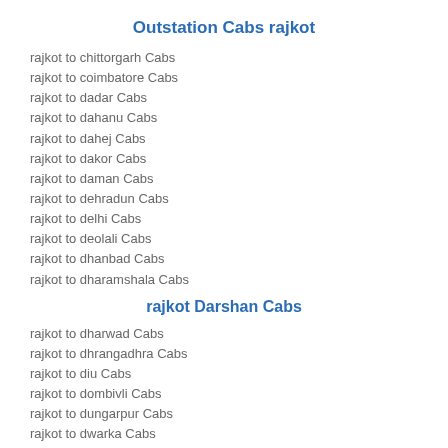Outstation Cabs rajkot
rajkot to chittorgarh Cabs
rajkot to coimbatore Cabs
rajkot to dadar Cabs
rajkot to dahanu Cabs
rajkot to dahej Cabs
rajkot to dakor Cabs
rajkot to daman Cabs
rajkot to dehradun Cabs
rajkot to delhi Cabs
rajkot to deolali Cabs
rajkot to dhanbad Cabs
rajkot to dharamshala Cabs
rajkot Darshan Cabs
rajkot to dharwad Cabs
rajkot to dhrangadhra Cabs
rajkot to diu Cabs
rajkot to dombivli Cabs
rajkot to dungarpur Cabs
rajkot to dwarka Cabs
rajkot to gandhidham Cabs
rajkot to gandhinagar Cabs
rajkot to goa Cabs
rajkot to godhra Cabs
rajkot to gondal Cabs
rajkot to gorakhpur Cabs
Book cabs
rajkot to gulbarga Cabs